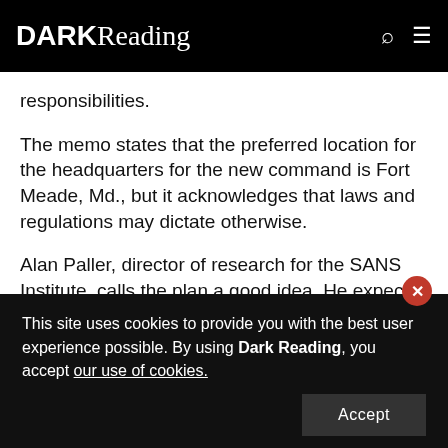DARK Reading
responsibilities.
The memo states that the preferred location for the headquarters for the new command is Fort Meade, Md., but it acknowledges that laws and regulations may dictate otherwise.
Alan Paller, director of research for the SANS Institute, calls the plan a good idea. He expects the new command will unify offense and defense in cyberspace,
This site uses cookies to provide you with the best user experience possible. By using Dark Reading, you accept our use of cookies.